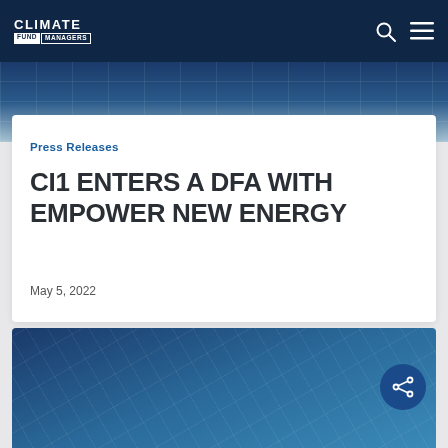CLIMATE FUND MANAGERS
[Figure (photo): Solar panels close-up view from above, top image strip]
Press Releases
CI1 ENTERS A DFA WITH EMPOWER NEW ENERGY
May 5, 2022
[Figure (photo): Solar panels close-up view, bottom image]